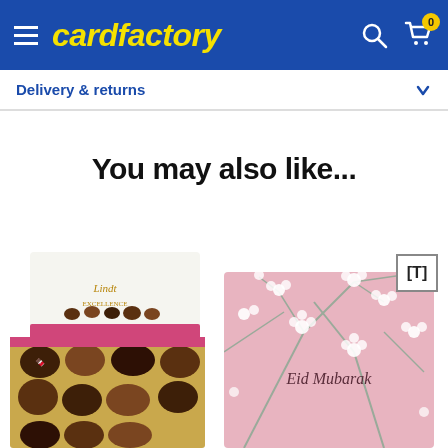cardfactory
Delivery & returns
You may also like...
[Figure (photo): Lindt chocolate box open showing assorted chocolates in gold tray with white and pink packaging lid]
[Figure (photo): Eid Mubarak greeting card with pink background and white cherry blossom floral pattern with grey branches]